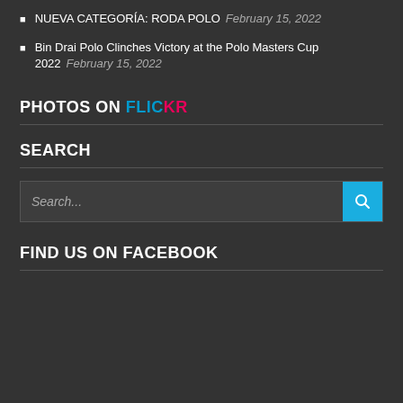NUEVA CATEGORÍA: RODA POLO  February 15, 2022
Bin Drai Polo Clinches Victory at the Polo Masters Cup 2022  February 15, 2022
PHOTOS ON FLICKR
SEARCH
Search...
FIND US ON FACEBOOK